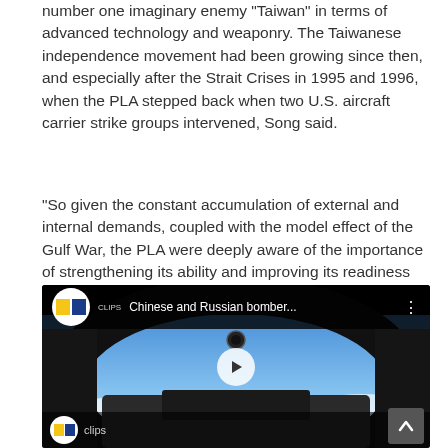number one imaginary enemy 'Taiwan' in terms of advanced technology and weaponry. The Taiwanese independence movement had been growing since then, and especially after the Strait Crises in 1995 and 1996, when the PLA stepped back when two U.S. aircraft carrier strike groups intervened, Song said.
“So given the constant accumulation of external and internal demands, coupled with the model effect of the Gulf War, the PLA were deeply aware of the importance of strengthening its ability and improving its readiness for war,” he said.
[Figure (screenshot): Embedded YouTube/Clips video player showing cockpit view of aircraft in flight, with blue sky and clouds visible. Title reads 'Chinese and Russian bomber...' with a CLIPS channel logo. A play button is visible in the center.]